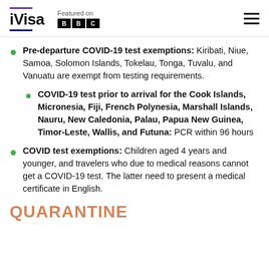iVisa — Featured on BBC
Pre-departure COVID-19 test exemptions: Kiribati, Niue, Samoa, Solomon Islands, Tokelau, Tonga, Tuvalu, and Vanuatu are exempt from testing requirements.
COVID-19 test prior to arrival for the Cook Islands, Micronesia, Fiji, French Polynesia, Marshall Islands, Nauru, New Caledonia, Palau, Papua New Guinea, Timor-Leste, Wallis, and Futuna: PCR within 96 hours
COVID test exemptions: Children aged 4 years and younger, and travelers who due to medical reasons cannot get a COVID-19 test. The latter need to present a medical certificate in English.
QUARANTINE